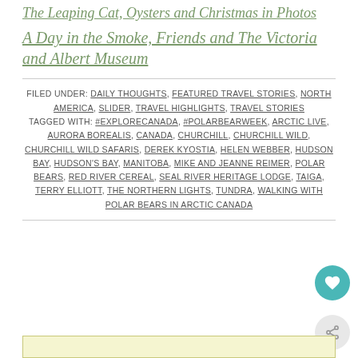The Leaping Cat, Oysters and Christmas in Photos
A Day in the Smoke, Friends and The Victoria and Albert Museum
FILED UNDER: DAILY THOUGHTS, FEATURED TRAVEL STORIES, NORTH AMERICA, SLIDER, TRAVEL HIGHLIGHTS, TRAVEL STORIES
TAGGED WITH: #EXPLORECANADA, #POLARBEARWEEK, ARCTIC LIVE, AURORA BOREALIS, CANADA, CHURCHILL, CHURCHILL WILD, CHURCHILL WILD SAFARIS, DEREK KYOSTIA, HELEN WEBBER, HUDSON BAY, HUDSON'S BAY, MANITOBA, MIKE AND JEANNE REIMER, POLAR BEARS, RED RIVER CEREAL, SEAL RIVER HERITAGE LODGE, TAIGA, TERRY ELLIOTT, THE NORTHERN LIGHTS, TUNDRA, WALKING WITH POLAR BEARS IN ARCTIC CANADA
[Figure (other): Teal circular heart/like button and share button with like count of 1]
[Figure (other): Bottom box with yellowish-green border, partial view of next content section]